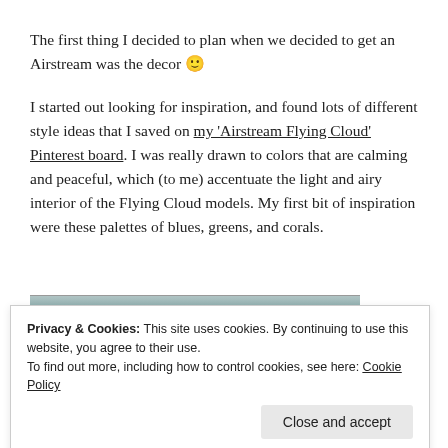The first thing I decided to plan when we decided to get an Airstream was the decor 🙂
I started out looking for inspiration, and found lots of different style ideas that I saved on my 'Airstream Flying Cloud' Pinterest board. I was really drawn to colors that are calming and peaceful, which (to me) accentuate the light and airy interior of the Flying Cloud models. My first bit of inspiration were these palettes of blues, greens, and corals.
[Figure (photo): Partial image strip visible at the bottom, cropped photo of palettes or Airstream-related image.]
Privacy & Cookies: This site uses cookies. By continuing to use this website, you agree to their use.
To find out more, including how to control cookies, see here: Cookie Policy